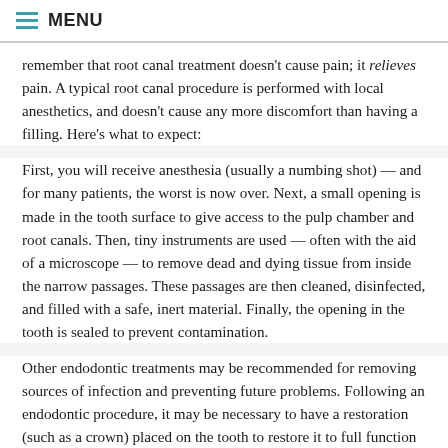MENU
remember that root canal treatment doesn't cause pain; it relieves pain. A typical root canal procedure is performed with local anesthetics, and doesn't cause any more discomfort than having a filling. Here's what to expect:
First, you will receive anesthesia (usually a numbing shot) — and for many patients, the worst is now over. Next, a small opening is made in the tooth surface to give access to the pulp chamber and root canals. Then, tiny instruments are used — often with the aid of a microscope — to remove dead and dying tissue from inside the narrow passages. These passages are then cleaned, disinfected, and filled with a safe, inert material. Finally, the opening in the tooth is sealed to prevent contamination.
Other endodontic treatments may be recommended for removing sources of infection and preventing future problems. Following an endodontic procedure, it may be necessary to have a restoration (such as a crown) placed on the tooth to restore it to full function and aesthetic appearance. After that, with proper care the restored tooth should last for many years.
Related Articles